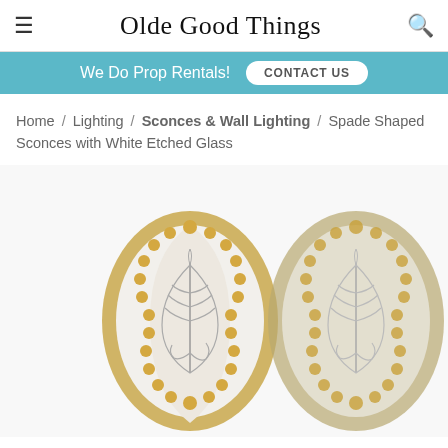Olde Good Things
We Do Prop Rentals! CONTACT US
Home / Lighting / Sconces & Wall Lighting / Spade Shaped Sconces with White Etched Glass
[Figure (photo): Two spade-shaped wall sconces with white etched glass featuring a leaf/botanical design etched into the frosted glass, set in gold-toned scalloped metal frames]